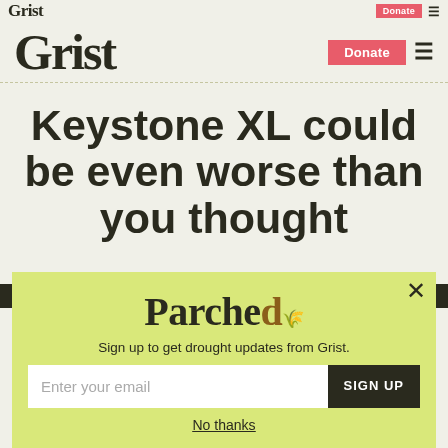Grist | Donate
Grist | Donate
Keystone XL could be even worse than you thought
[Figure (screenshot): Parched newsletter signup popup overlay with yellow-green background, showing 'Parched' logo in cracked earth style text, subtitle 'Sign up to get drought updates from Grist.', email input field, SIGN UP button, and 'No thanks' link]
Sign up to get drought updates from Grist.
No thanks